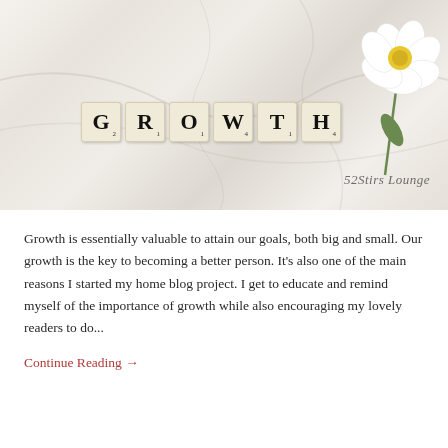[Figure (photo): Photo of Scrabble tiles spelling GROWTH on a marble surface with a white flower in the top right corner. Watermark reads '52Stirs Lounge' in script font.]
Growth is essentially valuable to attain our goals, both big and small. Our growth is the key to becoming a better person. It's also one of the main reasons I started my home blog project. I get to educate and remind myself of the importance of growth while also encouraging my lovely readers to do...
Continue Reading →